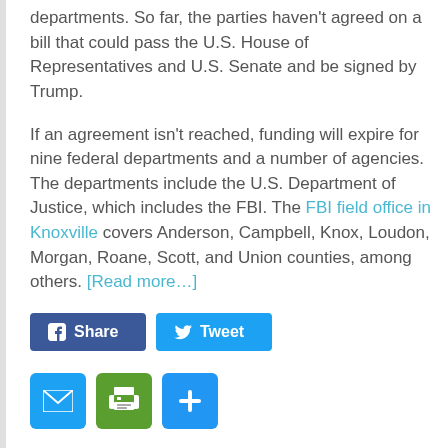departments. So far, the parties haven't agreed on a bill that could pass the U.S. House of Representatives and U.S. Senate and be signed by Trump.
If an agreement isn't reached, funding will expire for nine federal departments and a number of agencies. The departments include the U.S. Department of Justice, which includes the FBI. The FBI field office in Knoxville covers Anderson, Campbell, Knox, Loudon, Morgan, Roane, Scott, and Union counties, among others. [Read more…]
[Figure (other): Social sharing buttons: Facebook Share button (blue) and Twitter Tweet button (light blue)]
[Figure (other): Social sharing icon buttons: Email (blue envelope icon), Print (green printer icon), Plus/Add (blue plus icon)]